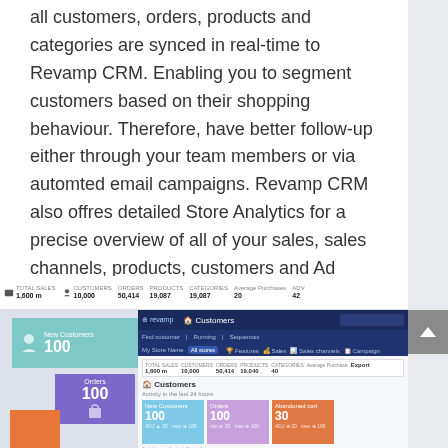all customers, orders, products and categories are synced in real-time to Revamp CRM. Enabling you to segment customers based on their shopping behaviour. Therefore, have better follow-up either through your team members or via automted email campaigns. Revamp CRM also offres detailed Store Analytics for a precise overview of all of your sales, sales channels, products, customers and Ad Campaigns. Apptivo CRM Alternative doesn't offer that at all.
[Figure (screenshot): Screenshot of Revamp CRM dashboard showing customer analytics tiles with New Customers 100, Orders 100, and a CRM interface panel showing Customers section with stats including Total Sales 1,600, Customers 10,000, Orders 50,414, Products 19,087, Categories 19,087, Average Purchases 20, ADV 42]